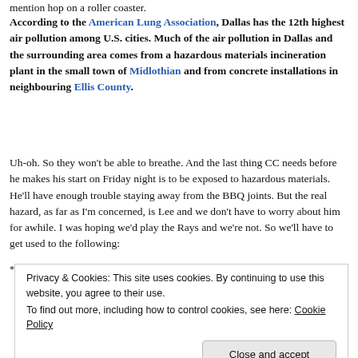mention hop on a roller coaster.
According to the American Lung Association, Dallas has the 12th highest air pollution among U.S. cities. Much of the air pollution in Dallas and the surrounding area comes from a hazardous materials incineration plant in the small town of Midlothian and from concrete installations in neighbouring Ellis County.
Uh-oh. So they won't be able to breathe. And the last thing CC needs before he makes his start on Friday night is to be exposed to hazardous materials. He'll have enough trouble staying away from the BBQ joints. But the real hazard, as far as I'm concerned, is Lee and we don't have to worry about him for awhile. I was hoping we'd play the Rays and we're not. So we'll have to get used to the following:
Privacy & Cookies: This site uses cookies. By continuing to use this website, you agree to their use.
To find out more, including how to control cookies, see here: Cookie Policy